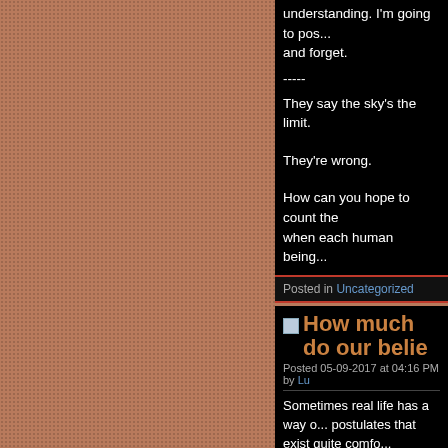understanding. I'm going to pos... and forget.
-----
They say the sky's the limit.
They're wrong.
How can you hope to count the when each human being...
Posted in Uncategorized
How much do our belie...
Posted 05-09-2017 at 04:16 PM by Lu...
Sometimes real life has a way o... postulates that exist quite comfo... theoretical. Sometime last year, ... would reason out in imaginary c... Realistically, whether your belie... affect on your life and those aro... sense, it doesn't matter as muc... correct or not, because even if y...
Posted in Uncategorized